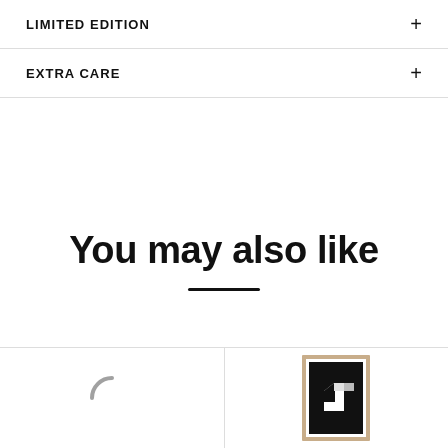LIMITED EDITION
EXTRA CARE
You may also like
[Figure (illustration): Loading spinner (partial circle arc) on left panel]
[Figure (photo): Product thumbnail: framed artwork with black background and white 3D cube shape]